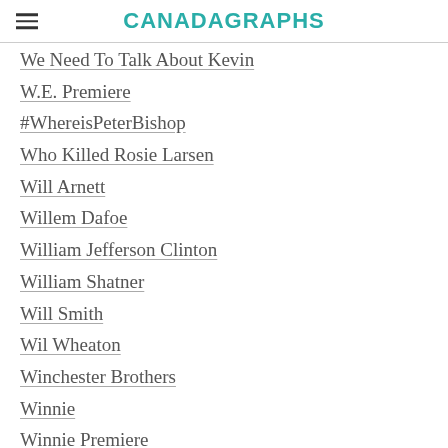CANADAGRAPHS
We Need To Talk About Kevin
W.E. Premiere
#WhereisPeterBishop
Who Killed Rosie Larsen
Will Arnett
Willem Dafoe
William Jefferson Clinton
William Shatner
Will Smith
Wil Wheaton
Winchester Brothers
Winnie
Winnie Premiere
Winona Ryder
Wolf Canyon